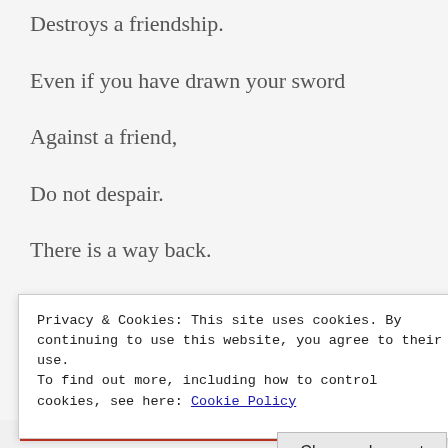Destroys a friendship.
Even if you have drawn your sword
Against a friend,
Do not despair.
There is a way back.
If you have opened your mouth
Privacy & Cookies: This site uses cookies. By continuing to use this website, you agree to their use.
To find out more, including how to control cookies, see here: Cookie Policy